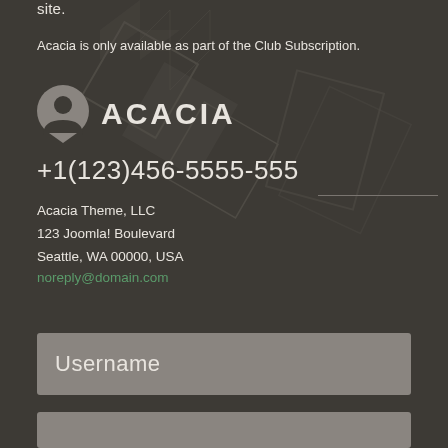site.
Acacia is only available as part of the Club Subscription.
[Figure (logo): Acacia logo: circular person/profile icon in grey followed by the text ACACIA in white bold caps]
+1(123)456-5555-555
Acacia Theme, LLC
123 Joomla! Boulevard
Seattle, WA 00000, USA
noreply@domain.com
Username